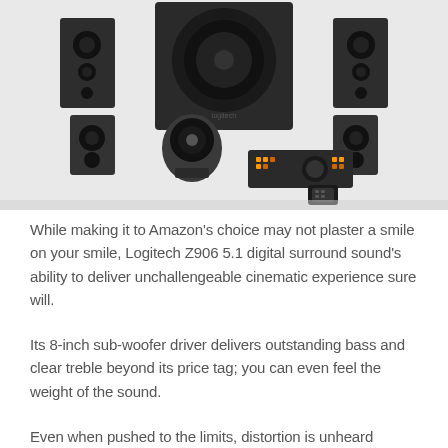[Figure (photo): Product photo of Logitech Z906 5.1 surround sound speaker system showing subwoofer in center-back, four satellite speakers, a center channel speaker, control console with orange LED indicators, and a small remote control in front.]
While making it to Amazon's choice may not plaster a smile on your smile, Logitech Z906 5.1 digital surround sound's ability to deliver unchallengeable cinematic experience sure will.
Its 8-inch sub-woofer driver delivers outstanding bass and clear treble beyond its price tag; you can even feel the weight of the sound.
Even when pushed to the limits, distortion is unheard...